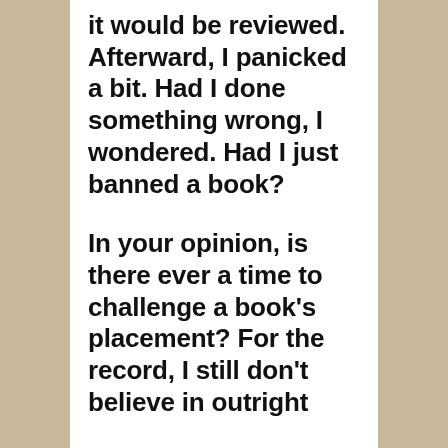it would be reviewed. Afterward, I panicked a bit. Had I done something wrong, I wondered. Had I just banned a book?

In your opinion, is there ever a time to challenge a book's placement? For the record, I still don't believe in outright